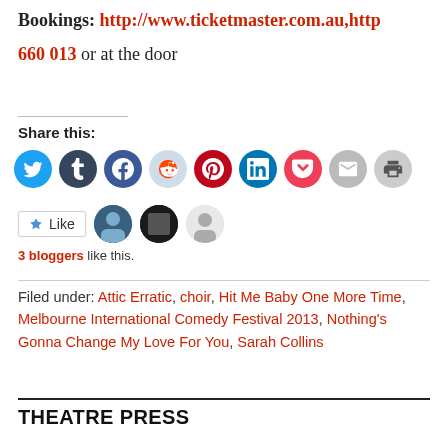Bookings: http://www.ticketmaster.com.au,http... 660 013 or at the door
Share this:
[Figure (other): Row of social media sharing icon buttons: Twitter (blue), Tumblr (dark blue), Facebook (blue), Reddit (light blue), Pinterest (red), LinkedIn (teal), Pocket (red), Email (grey), Print (grey)]
Like | 3 bloggers like this.
Filed under: Attic Erratic, choir, Hit Me Baby One More Time, Melbourne International Comedy Festival 2013, Nothing's Gonna Change My Love For You, Sarah Collins
THEATRE PRESS